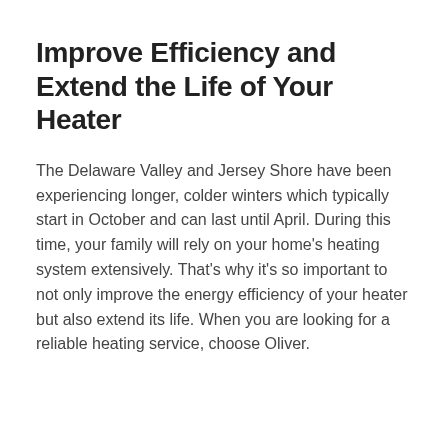Improve Efficiency and Extend the Life of Your Heater
The Delaware Valley and Jersey Shore have been experiencing longer, colder winters which typically start in October and can last until April. During this time, your family will rely on your home's heating system extensively. That's why it's so important to not only improve the energy efficiency of your heater but also extend its life. When you are looking for a reliable heating service, choose Oliver.